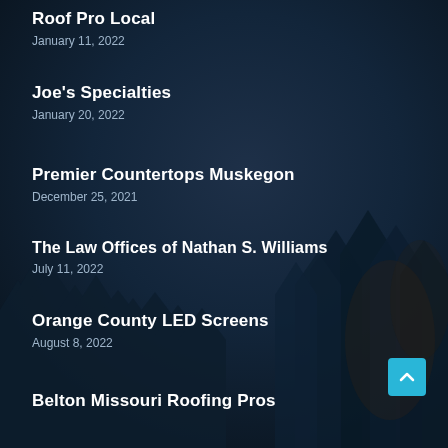Roof Pro Local
January 11, 2022
Joe's Specialties
January 20, 2022
Premier Countertops Muskegon
December 25, 2021
The Law Offices of Nathan S. Williams
July 11, 2022
Orange County LED Screens
August 8, 2022
Belton Missouri Roofing Pros